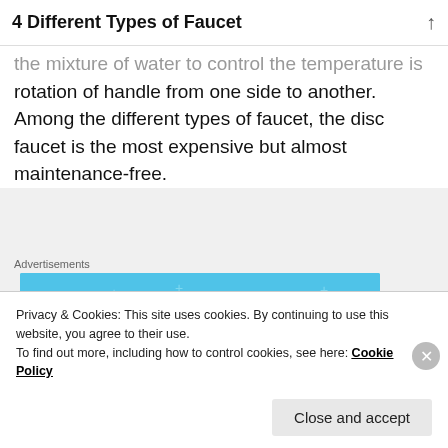4 Different Types of Faucet
the mixture of water to control the temperature is rotation of handle from one side to another. Among the different types of faucet, the disc faucet is the most expensive but almost maintenance-free.
[Figure (illustration): Advertisement banner showing a cartoon person in blue holding a phone, flanked by two circle icons containing notebook/document images, on a light blue background with star/plus decorations.]
Privacy & Cookies: This site uses cookies. By continuing to use this website, you agree to their use.
To find out more, including how to control cookies, see here: Cookie Policy
Close and accept